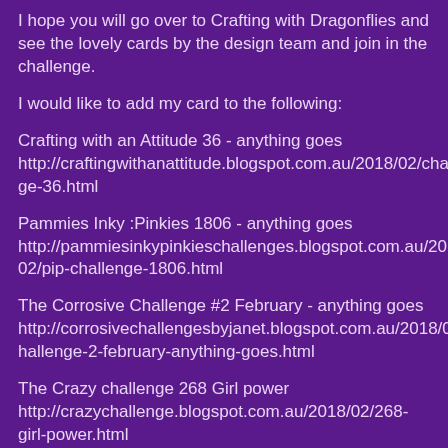I hope you will go over to Crafting with Dragonflies and see the lovely cards by the design team and join in the challenge.
I would like to add my card to the following:
Crafting with an Attitude 36 - anything goes http://craftingwithanattitude.blogspot.com.au/2018/02/challenge-36.html
Pammies Inky :Pinkies 1806 - anything goes http://pammiesinkypinkieschallenges.blogspot.com.au/2018/02/pip-challenge-1806.html
The Corrosive Challenge #2 February - anything goes http://corrosivechallengesbyjanet.blogspot.com.au/2018/02/challenge-2-february-anything-goes.html
The Crazy challenge 268 Girl power http://crazychallenge.blogspot.com.au/2018/02/268-girl-power.html
The Sketchy challenge 136 - anything goes